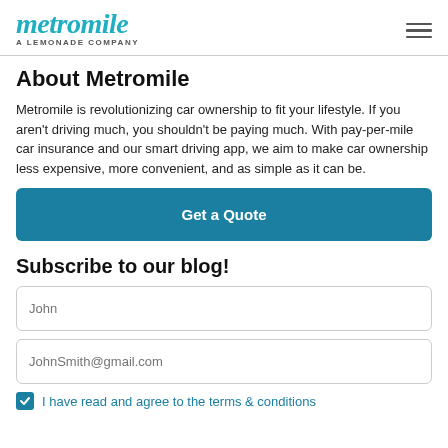metromile — A LEMONADE COMPANY
About Metromile
Metromile is revolutionizing car ownership to fit your lifestyle. If you aren't driving much, you shouldn't be paying much. With pay-per-mile car insurance and our smart driving app, we aim to make car ownership less expensive, more convenient, and as simple as it can be.
Get a Quote
Subscribe to our blog!
John
JohnSmith@gmail.com
I have read and agree to the terms & conditions